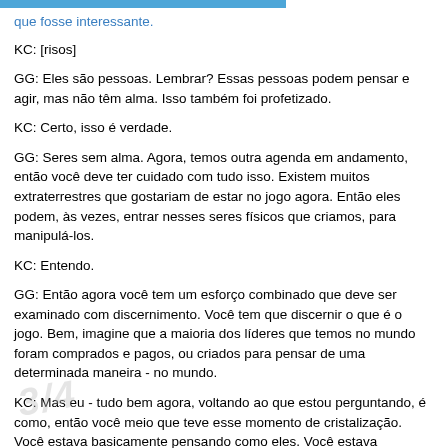que fosse interessante.
KC: [risos]
GG: Eles são pessoas. Lembrar? Essas pessoas podem pensar e agir, mas não têm alma. Isso também foi profetizado.
KC: Certo, isso é verdade.
GG: Seres sem alma. Agora, temos outra agenda em andamento, então você deve ter cuidado com tudo isso. Existem muitos extraterrestres que gostariam de estar no jogo agora. Então eles podem, às vezes, entrar nesses seres físicos que criamos, para manipulá-los.
KC: Entendo.
GG: Então agora você tem um esforço combinado que deve ser examinado com discernimento. Você tem que discernir o que é o jogo. Bem, imagine que a maioria dos líderes que temos no mundo foram comprados e pagos, ou criados para pensar de uma determinada maneira - no mundo.
KC: Mas eu - tudo bem agora, voltando ao que estou perguntando, é como, então você meio que teve esse momento de cristalização. Você estava basicamente pensando como eles. Você estava ganhando dinheiro [...]